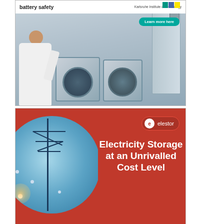[Figure (photo): Advertisement for battery safety research at Karlsruhe Institute of Technology. Shows a researcher in a white lab coat working with laboratory equipment (cylindrical testing machines). White top bar reads 'battery safety' with KIT logo. Teal 'Learn more here' button.]
[Figure (illustration): Advertisement for Elestor electricity storage product. Red background with orange curved shape. Left side shows a blue circular inset with a power transmission tower and network nodes. Right side text in white bold: 'Electricity Storage at an Unrivalled Cost Level'. Elestor logo (white circle with 'e' and text 'elestor') in top area.]